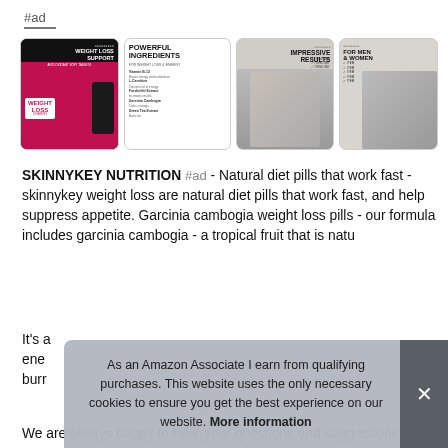#ad
[Figure (screenshot): Four product images for SkinnyKey Nutrition weight loss supplement showing: Weight Loss Support bottle, Powerful Ingredients list, Impressive Results woman, For Men & Women couple]
SKINNYKEY NUTRITION #ad - Natural diet pills that work fast - skinnykey weight loss are natural diet pills that work fast, and help suppress appetite. Garcinia cambogia weight loss pills - our formula includes garcinia cambogia - a tropical fruit that is natu... It's a... ene... burr...
We are always happy to hear your questions and suggestions
As an Amazon Associate I earn from qualifying purchases. This website uses the only necessary cookies to ensure you get the best experience on our website. More information